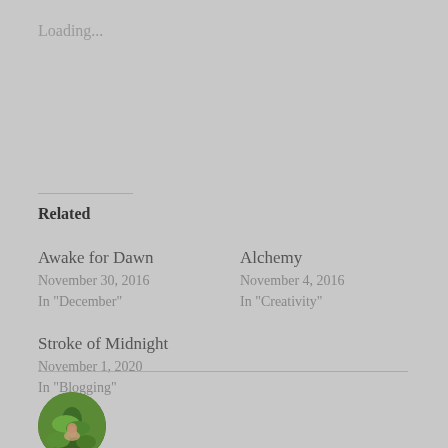Loading...
Related
Awake for Dawn
November 30, 2016
In "December"
Alchemy
November 4, 2016
In "Creativity"
Stroke of Midnight
November 1, 2020
In "Blogging"
[Figure (photo): Circular avatar photo of a person lying in green grass]